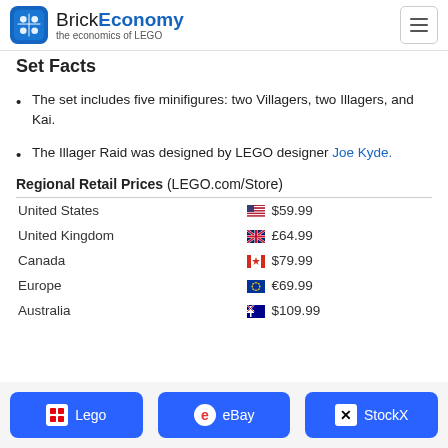BrickEconomy — the economics of LEGO
Set Facts
The set includes five minifigures: two Villagers, two Illagers, and Kai.
The Illager Raid was designed by LEGO designer Joe Kyde.
Regional Retail Prices (LEGO.com/Store)
| Region | Price |
| --- | --- |
| United States | $59.99 |
| United Kingdom | £64.99 |
| Canada | $79.99 |
| Europe | €69.99 |
| Australia | $109.99 |
Lego | eBay | StockX